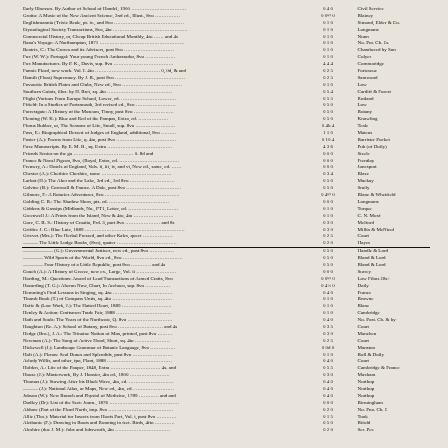| Title / Author / Description | Vol | Pt | No | Publisher |
| --- | --- | --- | --- | --- |
| Early Illnesses. By Author of School of Handel, 1900 | 0 | 4 | 0 | Civil Service |
| Grotto: A Music of the New Ancient Science, 2nd ed., Illust., 8vo | 0 | 0½ | 0 | Blainey |
| Englishmannia (Trixie Beale, pt. iv., and 8vo | 0 | 1 | 0 | Simond, Elder & Co. |
| Etymological Society Transactions, 8vo, 4to | 0 | 1 | 0 | Longmans |
| Commercial History, or, Cheap British Educational Monthly, 4to … and by | 0 | 1 | 0 | Nunn |
| Rana's Voyage: A Northampton, 1871 | 0 | 1 | 0 | No. Pra. Ch. £s. |
| Beatrix, C.: The Crown and its Advisers, post 8vo | 0 | 1 | 0 | Chambered by Son |
| Fox (W. W.): Portugal: Your young French Ambassador, 8vo | 0 | 1 | 0 | Colyer |
| Fox Manufactures. By P. K., Davis, sup. 8vo | 4 | 4 | 4 | Cornmaridge |
| Fannie Plead, new work. Vol. I. 4to ………………. 0, 0d, & and | 0 | 2 | 5 | Fortescue |
| Hamilt (Flora) Supremacy. By J. B., post 8vo | 0 | 2 | 5 | Samwood |
| Favourite British Plates and Clubs, New ed., 8vo | 0 | 1 | 0 | Low |
| Southern Gaints, illus. by H. Bret, sq. 4to | 0 | 5 | 4 | Cardiff & Forest |
| Flight (Various From Europe School, Lower, ed. | 0 | 5 | 5 | Rutland |
| Fifield: In a Studies of Portsmouth, 3rd revised ed., 8vo | 0 | 5 | 0 | Low |
| Forrestgate: A History of the Museum, Tinny, post 8vo | 0 | 5 | 0 | Botany |
| Fleming (W. K.): Blue and Red of the Pampas, Extra, ed. | 0 | 5 | 0 | Knowling |
| Florus Bubber, or, The Seasons of Life, Small, sup. 8vo | 0 | 4b | 4 | Teale |
| Foss, E.: Biographical Dessert of Judges of England, additional, 8vo | 1 | 1 | 0 | Mateus |
| Foster (A.): Poems from Life, q. 4to, post 8vo | 0 | 10 | 4 | Barrister Pocket |
| Foxe Manuscripts. By E. M. B., sq. Extra | 4 | 3 | 6 | Pub (of Doily) |
| Friends Senior on the go ………………………… 0. 8d and | 0 | 0 | 0 | Steele |
| France & Naval Pigeon, 8vo, ( Royal, Extra, ed. | 0 | 0 | 0 | Frentlay |
| Fremery, A.: Hotels of England, Vols. ii, iii, iv, and vi, New ed., same, ed. | 0 | 0 | 0 | Jonesport |
| Chester (A.): Cheshire Cheshire, some | 0 | 3 | 4 | Blaze |
| Larbot (H.): The Aber and the Lake, 3rd ed., 3rd 8vo | 0 | 5 | 0 | Mackay |
| Galvine (B.): Cornwall & France. A Dale, post 8vo | 0 | 5 | 0 | Smily |
| Gilmore, F.: A Rotaries Adventures, 8vo | 0 | 4½ | 0 | Blanc & Whetfield |
| Golding C. B.: The Shadow Show, pts. ed. | 0 | 0 | 0 | Longmans |
| Giddens & Gossips (Midlands, No., PT1, Letter, ed. | 0 | 1 | 0 | Torque |
| Greenwell J.: A Prints from the Island, New & 4to, 4to | 0 | 1 | 0 | C. N. Moxf |
| Gore, C. B. S.: History of Croatia, Prd. 3, port 8vo ……………… and 8s | 0 | 3 | 0 | Melford |
| Griffin: J. C.: Blue Lute, 1889 | 0 | 3 | 0 | Millin & McNicol |
| Grieves (Mrs.): The Herbal Pressed, and other Kales, queer | 0 | 2 | 5 | Court |
| ——— The Little Lodge Books, (8vo), quater | 0 | 2 | 0 | Hayes |
| —————— (G.): Governmental Justices, new ed., post 8vo | 0 | 5 | 0 | Handle & Lord |
| ———— Wild Sports of the World, 8vo ed., 8vo | 0 | 5 | 0 | Bland & Lord |
| ———— Four History of a Little Republic, post 8vo ………… and 4s | 0 | 5 | 0 | Bland & Lord |
| Couch (A.): A History of Greece, new ex., Large, Vol. ii | 0 | 0 | 0 | Surrey |
| Harding, M.: Questions: Award of Lead Transactions of Armed Crafts, 8vo | 0 | 0½ | 0 | Low Films E8s+ |
| Hazarding (T. G.): Aheron Now, Chart, In Archaeo, sup. 8vo | 0 | 4¾ | 0 | Daily |
| Hemming's Find Lessons in Singing, sq. 4to | 0 | 4 | 0 | France |
| Thumb Book (T.) of Compass Units, sq. 4to | 0 | 1 | 0 | Browne |
| Haffe & (Law Work, J.): The Hatted Heart, 1889 | 0 | 1 | 0 | Blane |
| Henley & Action: Craftsmen Trade Fair, 1888 | 0 | 1 | 0 | Cambridge |
| Hath and Souls: The Years of the Northcote, Q. 8vo | 0 | 4 | 0 | No. Post. Ch. & by |
| Haughton (Re. A.): School of Botany, post 8vo ……………… and 4s | 0 | 3 | 5 | Court |
| Hedge (Bro.), J. A.: The Trinaine Notion of Man, printed, post 8vo | 0 | 3 | 0 | Manchen |
| Newman (A.): The Song of Active Hood, Short, sq. 4to | 0 | 2 | 5 | Court |
| Hickewell (J.): Landscape Grammar of Botanic Language, 8vo | 0 | 0d | 0 | Manston |
| Holt (A.): Plenas: Seal Dunes and Splendids, post 8vo | 0 | 1 | 0 | Bull & Doily |
| Arlody Willis, and other, fpo, Plant, 1888 | 0 | 4 | 0 | Court |
| Holden, A.: Life of the Pauper, 1848, Extra ……………… 4s. and | 0 | 5 | 5 | Cambridge & France |
| House (J.): Masterwork, By J. Hoosier, 4to ed., 1800 | 0 | 3 | 0 | Maxham |
| Thomas (J.): Stowing After his Black Wave, 4to, ed. | 0 | 4 | 0 | Northop |
| ——— (J.): National Atlas, or Maps, New ed., 4to, ed. | 0 | 4 | 0 | Northop |
| Jobson (W.): New Branch and Physiol of Medicine, 1789 ………… and and | 0 | 4 | 0 | Northop |
| Dudley (Dr): List of the Sect: Journ., 1876 | 0 | 0 | 0 | Birmingham |
| Aldone (Part of the Plead North, imp. 8vo | 0 | 2 | 0 | No. Pno. Ch. £ |
| Allie (Tho.): Material for Insects from Hoofs Part, Vol. i, post 8vo | 0 | 1 | 5 | Took |
| Alethanie (F.): Drawing in Boots and Running in feet. Birds, 4fto | 0 | 5 | 0 | Bifold |
| Aleshire (due J. M.): Jobs and Jobsworth, 4to | 0 | 2 | 0 | Ser. Per. |